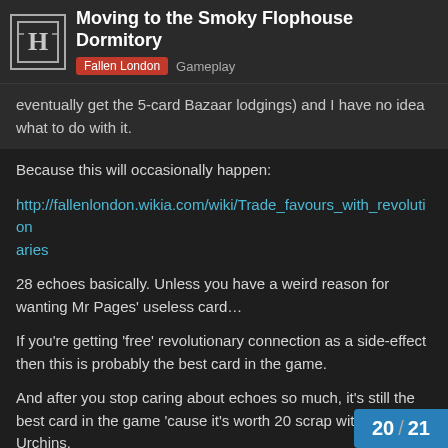Moving to the Smoky Flophouse Dormitory | Fallen London  Gameplay
eventually get the 5-card Bazaar lodgings) and I have no idea what to do with it.
Because this will occasionally happen:
http://fallenlondon.wikia.com/wiki/Trade_favours_with_revolutionaries
28 echoes basically. Unless you have a weird reason for wanting Mr Pages' useless card…
If you're getting 'free' revolutionary connection as a side-effect then this is probably the best card in the game.
And after you stop caring about echoes so much, it's still the best card in the game 'cause it's worth 20 scrap with the Urchins.
Always be flipping cards in the Flit, unless something else location-specific.
20 / 21